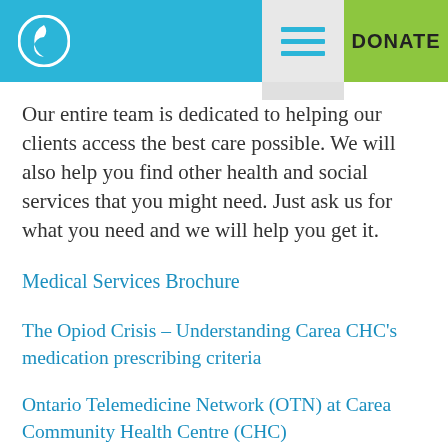DONATE
Our entire team is dedicated to helping our clients access the best care possible.  We will also help you find other health and social services that you might need.  Just ask us for what you need and we will help you get it.
Medical Services Brochure
The Opiod Crisis – Understanding Carea CHC's medication prescribing criteria
Ontario Telemedicine Network (OTN) at Carea Community Health Centre (CHC)